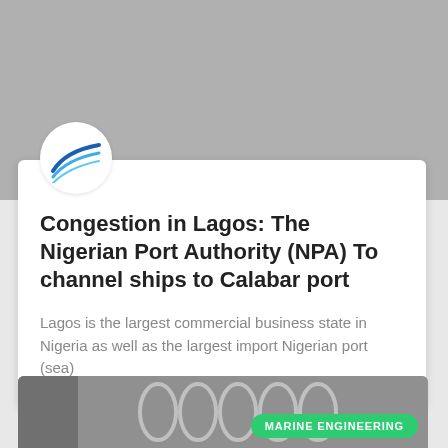[Figure (photo): Gray background top image area representing a photo placeholder]
[Figure (logo): Nigerian Port Authority (NPA) logo — circular white background with blue swoosh lines]
Congestion in Lagos: The Nigerian Port Authority (NPA) To channel ships to Calabar port
Lagos is the largest commercial business state in Nigeria as well as the largest import Nigerian port (sea)
[Figure (photo): Bottom photo showing mechanical springs/coils with a green MARINE ENGINEERING badge]